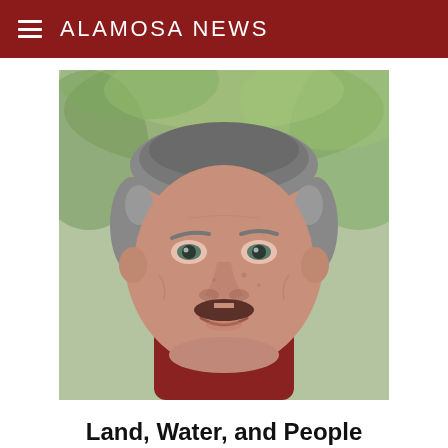ALAMOSA NEWS
[Figure (photo): Close-up portrait photo of a middle-aged man with short gray hair and a dark mustache, smiling slightly, with a blurred green outdoor background.]
Land, Water, and People